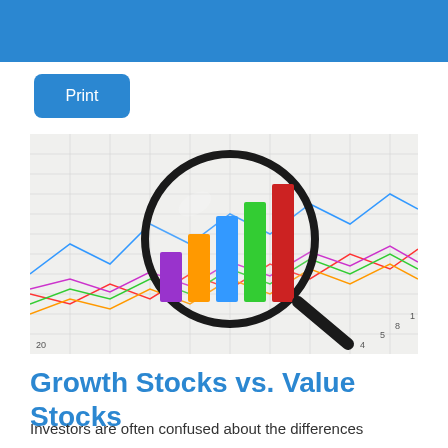Print
[Figure (photo): A magnifying glass over colorful 3D bar chart columns (purple, orange, blue, green, red) placed on graph paper with multicolored line charts in the background.]
Growth Stocks vs. Value Stocks
Investors are often confused about the differences